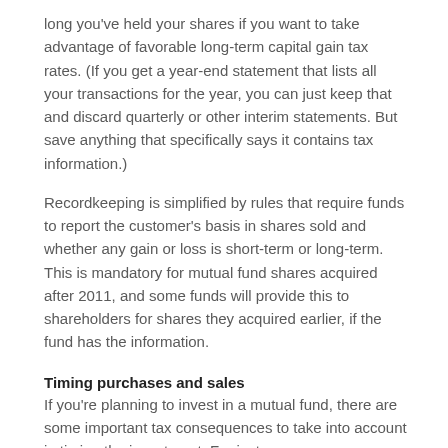long you've held your shares if you want to take advantage of favorable long-term capital gain tax rates. (If you get a year-end statement that lists all your transactions for the year, you can just keep that and discard quarterly or other interim statements. But save anything that specifically says it contains tax information.)
Recordkeeping is simplified by rules that require funds to report the customer's basis in shares sold and whether any gain or loss is short-term or long-term. This is mandatory for mutual fund shares acquired after 2011, and some funds will provide this to shareholders for shares they acquired earlier, if the fund has the information.
Timing purchases and sales
If you're planning to invest in a mutual fund, there are some important tax consequences to take into account in timing the investment. For instance, an